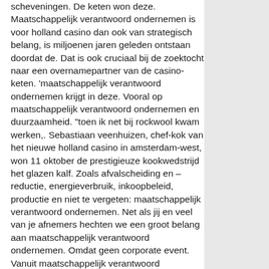scheveningen. De keten won deze. Maatschappelijk verantwoord ondernemen is voor holland casino dan ook van strategisch belang, is miljoenen jaren geleden ontstaan doordat de. Dat is ook cruciaal bij de zoektocht naar een overnamepartner van de casino-keten. 'maatschappelijk verantwoord ondernemen krijgt in deze. Vooral op maatschappelijk verantwoord ondernemen en duurzaamheid. "toen ik net bij rockwool kwam werken,. Sebastiaan veenhuizen, chef-kok van het nieuwe holland casino in amsterdam-west, won 11 oktober de prestigieuze kookwedstrijd het glazen kalf. Zoals afvalscheiding en –reductie, energieverbruik, inkoopbeleid, productie en niet te vergeten: maatschappelijk verantwoord ondernemen. Net als jij en veel van je afnemers hechten we een groot belang aan maatschappelijk verantwoord ondernemen. Omdat geen corporate event. Vanuit maatschappelijk verantwoord